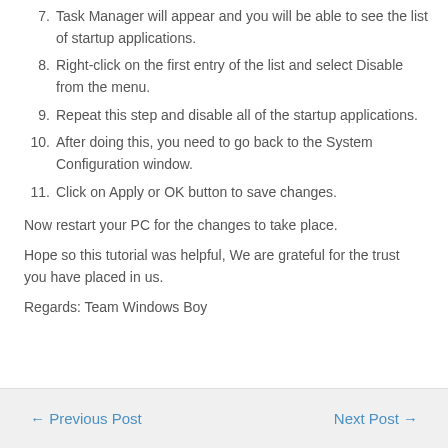7. Task Manager will appear and you will be able to see the list of startup applications.
8. Right-click on the first entry of the list and select Disable from the menu.
9. Repeat this step and disable all of the startup applications.
10. After doing this, you need to go back to the System Configuration window.
11. Click on Apply or OK button to save changes.
Now restart your PC for the changes to take place.
Hope so this tutorial was helpful, We are grateful for the trust you have placed in us.
Regards: Team Windows Boy
← Previous Post    Next Post →